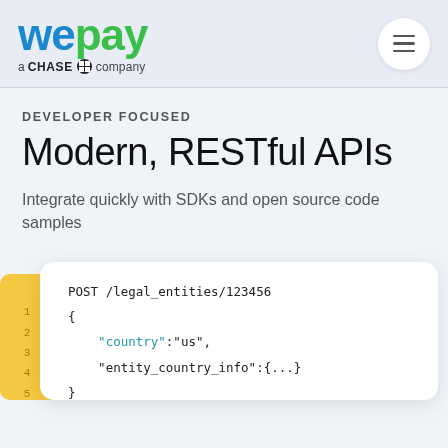WePay - a CHASE company
DEVELOPER FOCUSED
Modern, RESTful APIs
Integrate quickly with SDKs and open source code samples
[Figure (screenshot): Code snippet showing POST /legal_entities/123456 with JSON body containing country and entity_country_info fields, with line numbers 1-5 on a yellow sidebar]